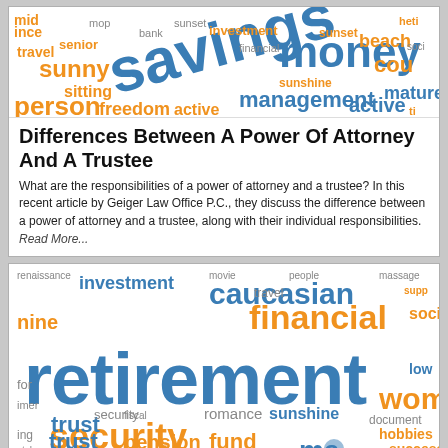[Figure (illustration): Word cloud with retirement/savings/finance related words in blue and orange colors. Large words include 'savings', 'money', 'management', 'active', 'mature', 'sunny', 'freedom', 'person', 'sitting', 'senior'.]
Differences Between A Power Of Attorney And A Trustee
What are the responsibilities of a power of attorney and a trustee? In this recent article by Geiger Law Office P.C., they discuss the difference between a power of attorney and a trustee, along with their individual responsibilities.
Read More...
[Figure (illustration): Word cloud with retirement-related words in blue and orange. Large words include 'retirement', 'financial', 'caucasian', 'security', 'trust', 'pension', 'fund', 'sunshine', 'romance', 'hobbies', 'investment', 'woman'.]